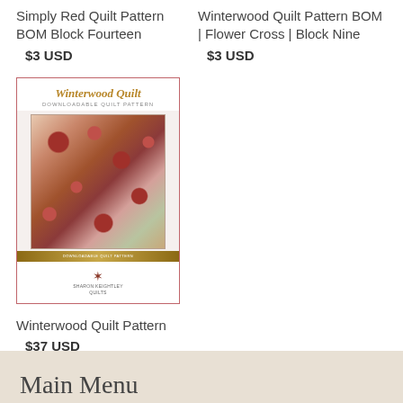Simply Red Quilt Pattern BOM Block Fourteen  $3 USD
Winterwood Quilt Pattern BOM | Flower Cross | Block Nine  $3 USD
[Figure (illustration): Product card image for Winterwood Quilt downloadable quilt pattern, showing a floral quilt with red roses and brown leaves on a light background. Has a decorative gold stripe and a logo at the bottom reading Sharon Keightley Quilts.]
Winterwood Quilt Pattern  $37 USD
Main Menu